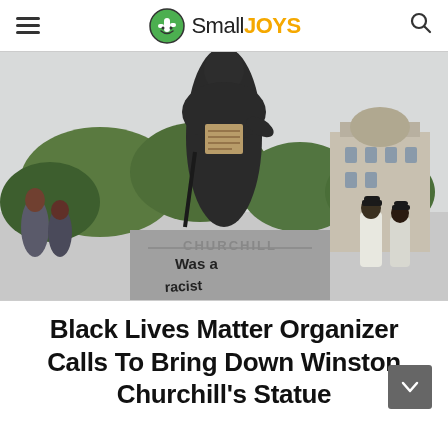SmallJOYS
[Figure (photo): A bronze statue of Winston Churchill with graffiti on the pedestal reading 'Churchill was a [racist]', with trees and a classical building in the background and police officers nearby.]
Black Lives Matter Organizer Calls To Bring Down Winston Churchill's Statue